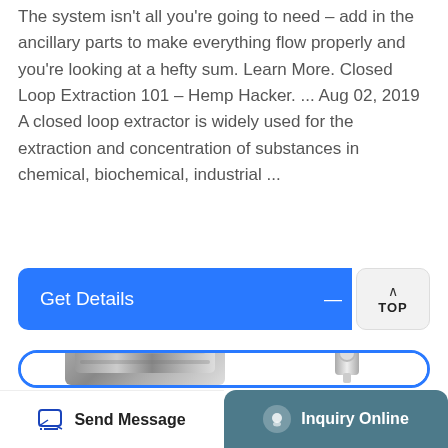The system isn't all you're going to need – add in the ancillary parts to make everything flow properly and you're looking at a hefty sum. Learn More. Closed Loop Extraction 101 – Hemp Hacker. ... Aug 02, 2019 A closed loop extractor is widely used for the extraction and concentration of substances in chemical, biochemical, industrial ...
[Figure (screenshot): Blue 'Get Details' button bar with a 'TOP' button on the right side]
[Figure (photo): Product images showing industrial extraction equipment - a metal ring/container on the left and a valve with blue handle on the right, inside a blue-bordered rounded card]
[Figure (screenshot): Bottom navigation bar with 'Send Message' on the left (white background) and 'Inquiry Online' on the right (teal/dark background)]